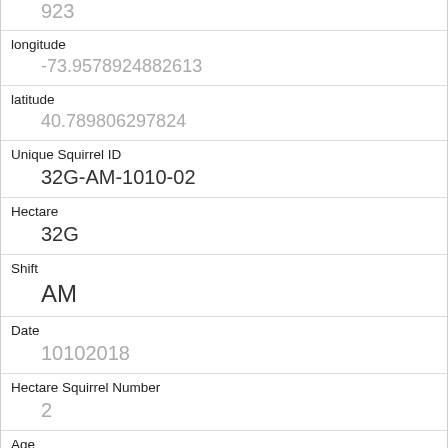| 923 |
| longitude | -73.9578924882613 |
| latitude | 40.789806297824 |
| Unique Squirrel ID | 32G-AM-1010-02 |
| Hectare | 32G |
| Shift | AM |
| Date | 10102018 |
| Hectare Squirrel Number | 2 |
| Age | Adult |
| Primary Fur Color | Gray |
| Highlight Fur Color |  |